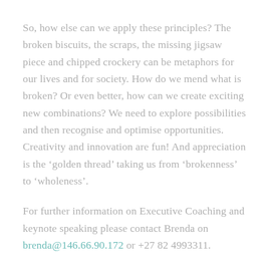So, how else can we apply these principles?  The broken biscuits, the scraps, the missing jigsaw piece and chipped crockery can be metaphors for our lives and for society.  How do we mend what is broken?  Or even better, how can we create exciting new combinations?  We need to explore possibilities and then recognise and optimise opportunities.  Creativity and innovation are fun!  And appreciation is the ‘golden thread’ taking us from ‘brokenness’ to ‘wholeness’.
For further information on Executive Coaching and keynote speaking please contact Brenda on brenda@146.66.90.172 or +27 82 4993311.